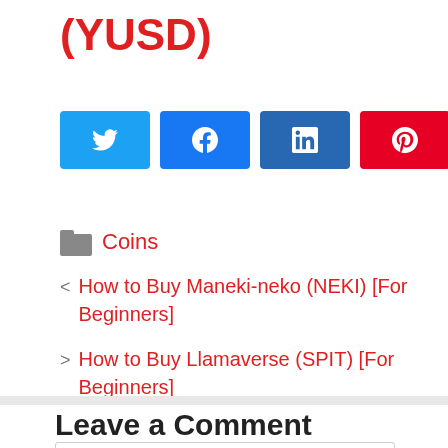(YUSD)
[Figure (infographic): Social share buttons: Twitter (blue), Facebook (blue), LinkedIn (dark blue), Pinterest (red), and a share count showing 0 SHARES]
Coins
< How to Buy Maneki-neko (NEKI) [For Beginners]
> How to Buy Llamaverse (SPIT) [For Beginners]
Leave a Comment